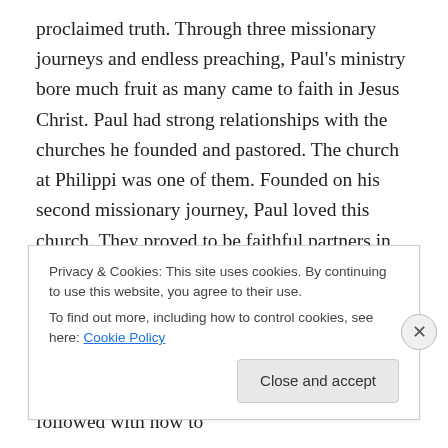proclaimed truth. Through three missionary journeys and endless preaching, Paul's ministry bore much fruit as many came to faith in Jesus Christ. Paul had strong relationships with the churches he founded and pastored. The church at Philippi was one of them. Founded on his second missionary journey, Paul loved this church. They proved to be faithful partners in the ministry of the gospel. He knew they had a strong foundation of faith and that their faith would persevere (Philippians 1:6). But as was always the case with Paul's letters, once he laid out the theological basis of faith, he always followed with how to
Privacy & Cookies: This site uses cookies. By continuing to use this website, you agree to their use.
To find out more, including how to control cookies, see here: Cookie Policy
Close and accept